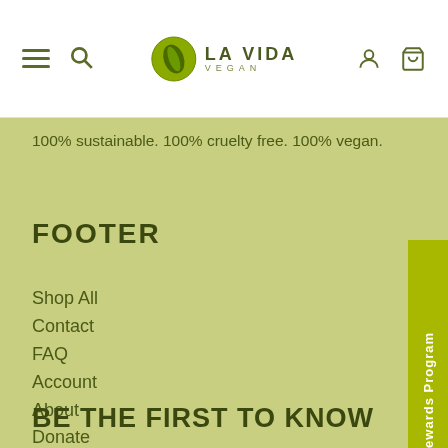LA VIDA VEGAN — navigation header with hamburger, search, logo, user, and cart icons
100% sustainable. 100% cruelty free. 100% vegan.
FOOTER
Shop All
Contact
FAQ
Account
About
Donate
BE THE FIRST TO KNOW